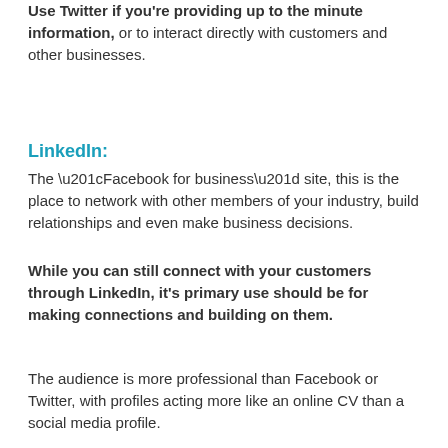Use Twitter if you're providing up to the minute information, or to interact directly with customers and other businesses.
LinkedIn:
The “Facebook for business” site, this is the place to network with other members of your industry, build relationships and even make business decisions.
While you can still connect with your customers through LinkedIn, it’s primary use should be for making connections and building on them.
The audience is more professional than Facebook or Twitter, with profiles acting more like an online CV than a social media profile.